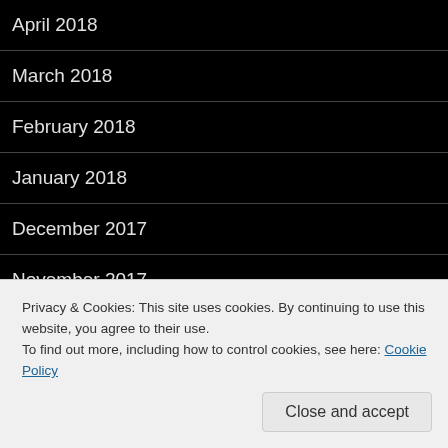April 2018
March 2018
February 2018
January 2018
December 2017
November 2017
October 2017
September 2017
August 2017
Privacy & Cookies: This site uses cookies. By continuing to use this website, you agree to their use.
To find out more, including how to control cookies, see here: Cookie Policy
April 2017